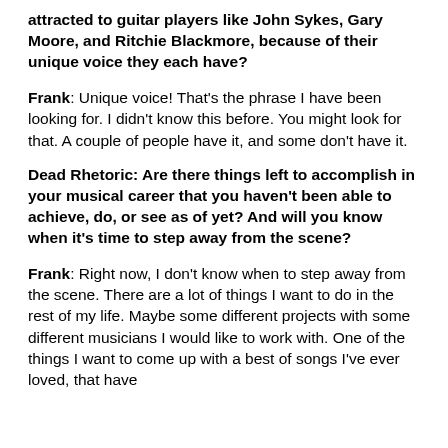attracted to guitar players like John Sykes, Gary Moore, and Ritchie Blackmore, because of their unique voice they each have?
Frank: Unique voice! That's the phrase I have been looking for. I didn't know this before. You might look for that. A couple of people have it, and some don't have it.
Dead Rhetoric: Are there things left to accomplish in your musical career that you haven't been able to achieve, do, or see as of yet? And will you know when it's time to step away from the scene?
Frank: Right now, I don't know when to step away from the scene. There are a lot of things I want to do in the rest of my life. Maybe some different projects with some different musicians I would like to work with. One of the things I want to come up with a best of songs I've ever loved, that have